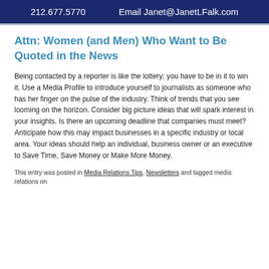212.677.5770   Email Janet@JanetLFalk.com
Attn: Women (and Men) Who Want to Be Quoted in the News
Being contacted by a reporter is like the lottery; you have to be in it to win it. Use a Media Profile to introduce yourself to journalists as someone who has her finger on the pulse of the industry. Think of trends that you see looming on the horizon. Consider big picture ideas that will spark interest in your insights. Is there an upcoming deadline that companies must meet? Anticipate how this may impact businesses in a specific industry or local area. Your ideas should help an individual, business owner or an executive to Save Time, Save Money or Make More Money.
This entry was posted in Media Relations Tips, Newsletters and tagged media relations on